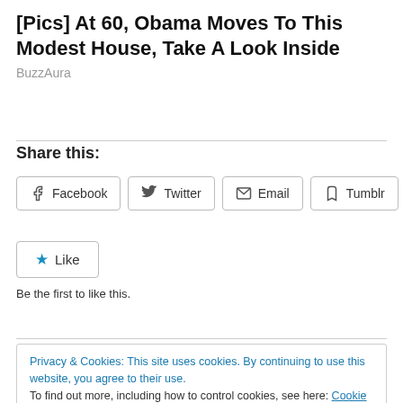[Pics] At 60, Obama Moves To This Modest House, Take A Look Inside
BuzzAura
Share this:
Facebook  Twitter  Email  Tumblr
Like
Be the first to like this.
Privacy & Cookies: This site uses cookies. By continuing to use this website, you agree to their use. To find out more, including how to control cookies, see here: Cookie Policy